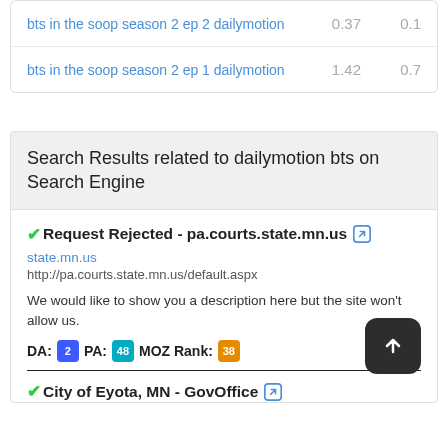| Keyword | Col1 | Col2 |
| --- | --- | --- |
| bts in the soop season 2 ep 2 dailymotion | 0.37 | 0.1 |
| bts in the soop season 2 ep 1 dailymotion | 1.42 | 0.7 |
Search Results related to dailymotion bts on Search Engine
✔Request Rejected - pa.courts.state.mn.us 🔗
state.mn.us
http://pa.courts.state.mn.us/default.aspx
We would like to show you a description here but the site won't allow us.
DA: 2 PA: 48 MOZ Rank: 38
✔City of Eyota, MN - GovOffice 🔗